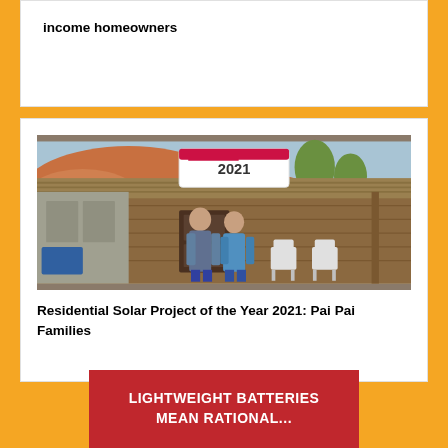income homeowners
[Figure (photo): Two people standing in front of a rustic wooden structure with a thatched roof; a sign reading '2021' is visible above them]
Residential Solar Project of the Year 2021: Pai Pai Families
LIGHTWEIGHT BATTERIES MEAN RATIONAL...